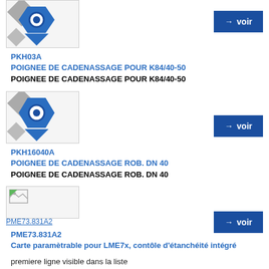[Figure (illustration): Blue diamond-shaped valve/handle product icon on grey background]
→ voir
PKH03A
POIGNEE DE CADENASSAGE POUR K84/40-50
POIGNEE DE CADENASSAGE POUR K84/40-50
[Figure (illustration): Blue diamond-shaped valve/handle product icon on grey background]
→ voir
PKH16040A
POIGNEE DE CADENASSAGE ROB. DN 40
POIGNEE DE CADENASSAGE ROB. DN 40
[Figure (illustration): Small broken/placeholder image with link PME73.831A2]
→ voir
PME73.831A2
Carte paramètrable pour LME7x, contôle d'étanchéité intégré
premiere ligne visible dans la liste
seconde ligne